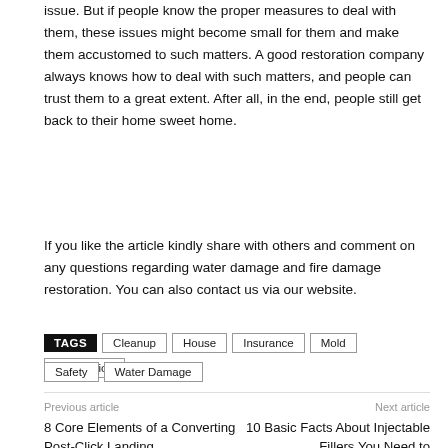issue. But if people know the proper measures to deal with them, these issues might become small for them and make them accustomed to such matters. A good restoration company always knows how to deal with such matters, and people can trust them to a great extent. After all, in the end, people still get back to their home sweet home.
If you like the article kindly share with others and comment on any questions regarding water damage and fire damage restoration. You can also contact us via our website.
TAGS Cleanup House Insurance Mold Restoration Safety Water Damage
Previous article
8 Core Elements of a Converting Post-Click Landing
Next article
10 Basic Facts About Injectable Fillers You Need to